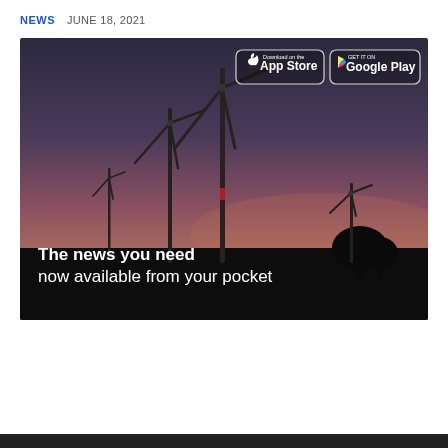NEWS   JUNE 18, 2021
[Figure (photo): Wind turbines at dusk with a gradient sky from purple-pink to dark blue. Text overlay reads 'The news you need now available from your pocket'. App Store and Google Play download badges are shown in the upper right of the image.]